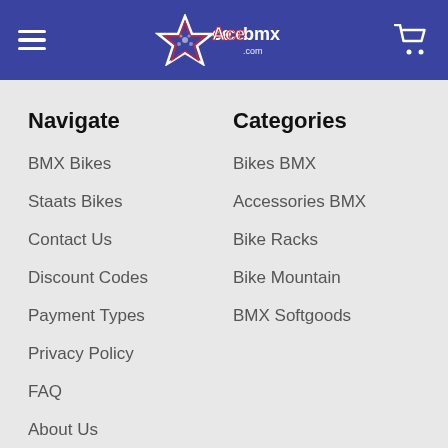Acebmx.com navigation header
Navigate
BMX Bikes
Staats Bikes
Contact Us
Discount Codes
Payment Types
Privacy Policy
FAQ
About Us
Categories
Bikes BMX
Accessories BMX
Bike Racks
Bike Mountain
BMX Softgoods